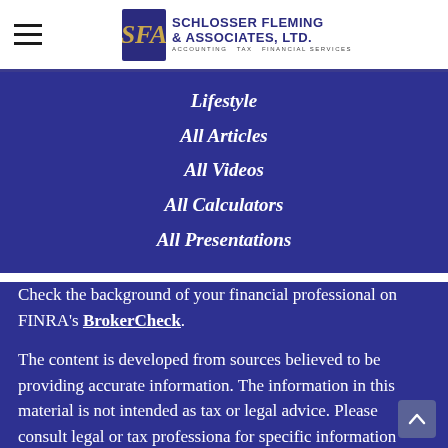Schlosser Fleming & Associates, Ltd. — Accounting Tax Financial Services
Lifestyle
All Articles
All Videos
All Calculators
All Presentations
Check the background of your financial professional on FINRA's BrokerCheck.
The content is developed from sources believed to be providing accurate information. The information in this material is not intended as tax or legal advice. Please consult legal or tax professiona for specific information regarding your individual situation. Some of this material was developed and